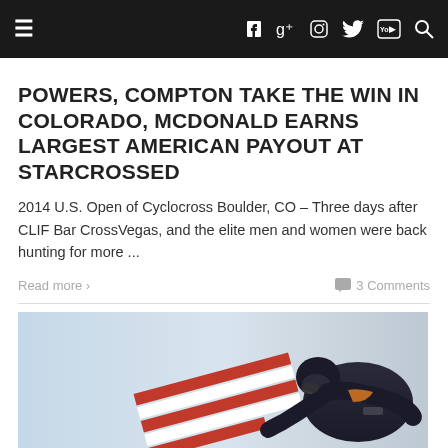Navigation bar with menu, social icons (Facebook, Google+, Instagram, Twitter, YouTube) and search
POWERS, COMPTON TAKE THE WIN IN COLORADO, MCDONALD EARNS LARGEST AMERICAN PAYOUT AT STARCROSSED
2014 U.S. Open of Cyclocross Boulder, CO – Three days after CLIF Bar CrossVegas, and the elite men and women were back hunting for more ...
Read more ›    💬 3 Comments
[Figure (photo): Cyclist in dark jersey and helmet leaning forward with American flag, light blue/grey background]